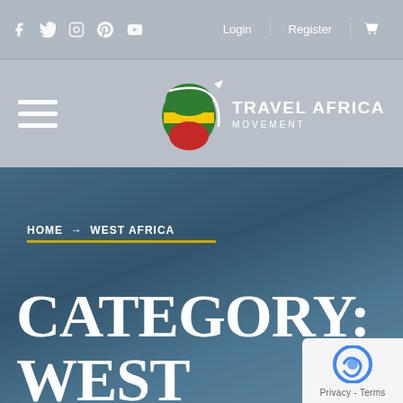Social icons: f, Twitter, Instagram, Pinterest, YouTube | Login | Register | Cart
[Figure (logo): Travel Africa Movement logo with Africa map in green, yellow, red colors and airplane silhouette, with text TRAVEL AFRICA MOVEMENT]
HOME → WEST AFRICA
CATEGORY: WEST AFRICA